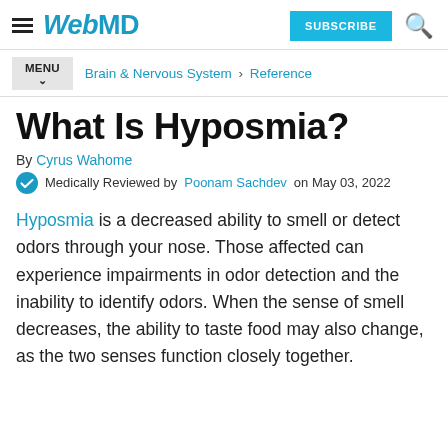WebMD — SUBSCRIBE
MENU — Brain & Nervous System > Reference
What Is Hyposmia?
By Cyrus Wahome
Medically Reviewed by Poonam Sachdev on May 03, 2022
Hyposmia is a decreased ability to smell or detect odors through your nose. Those affected can experience impairments in odor detection and the inability to identify odors. When the sense of smell decreases, the ability to taste food may also change, as the two senses function closely together.